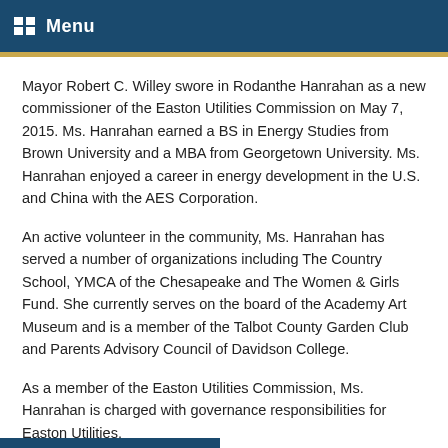Menu
Mayor Robert C. Willey swore in Rodanthe Hanrahan as a new commissioner of the Easton Utilities Commission on May 7, 2015. Ms. Hanrahan earned a BS in Energy Studies from Brown University and a MBA from Georgetown University. Ms. Hanrahan enjoyed a career in energy development in the U.S. and China with the AES Corporation.
An active volunteer in the community, Ms. Hanrahan has served a number of organizations including The Country School, YMCA of the Chesapeake and The Women & Girls Fund. She currently serves on the board of the Academy Art Museum and is a member of the Talbot County Garden Club and Parents Advisory Council of Davidson College.
As a member of the Easton Utilities Commission, Ms. Hanrahan is charged with governance responsibilities for Easton Utilities.